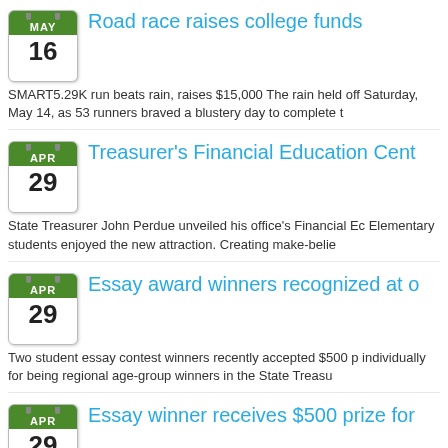[Figure (other): Calendar icon showing MAY 16]
Road race raises college funds
SMART5.29K run beats rain, raises $15,000 The rain held off Saturday, May 14, as 53 runners braved a blustery day to complete t
[Figure (other): Calendar icon showing APR 29]
Treasurer's Financial Education Cent
State Treasurer John Perdue unveiled his office's Financial Ec Elementary students enjoyed the new attraction. Creating make-belie
[Figure (other): Calendar icon showing APR 29]
Essay award winners recognized at o
Two student essay contest winners recently accepted $500 p individually for being regional age-group winners in the State Treasu
[Figure (other): Calendar icon showing APR 29]
Essay winner receives $500 prize for
A Straley Elementary fourth grader accepted a $500 prize on Grow Up" State Treasurer's Office essay contest.Fourth-grade stude
Page 27 of 36  First  Previous  22  23  24  25  26  [27]  28